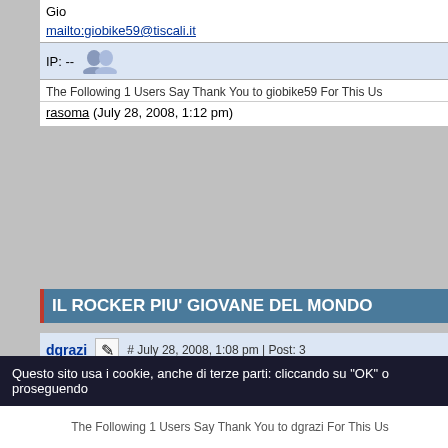Gio
mailto:giobike59@tiscali.it
IP: --
The Following 1 Users Say Thank You to giobike59 For This Us
rasoma (July 28, 2008, 1:12 pm)
IL ROCKER PIU' GIOVANE DEL MONDO
dgrazi
# July 28, 2008, 1:08 pm | Post: 3
[Figure (photo): User avatar placeholder image]
Group: Member
Post Group: Newbie
Posts: 11
Thanked: 3 times
Status:
Leader Indiscusso...
------------------------
Per il Simposio del Metallo...
\m/ O_o \m/
Questo sito usa i cookie, anche di terze parti: cliccando su "OK" o proseguendo
The Following 1 Users Say Thank You to dgrazi For This Us